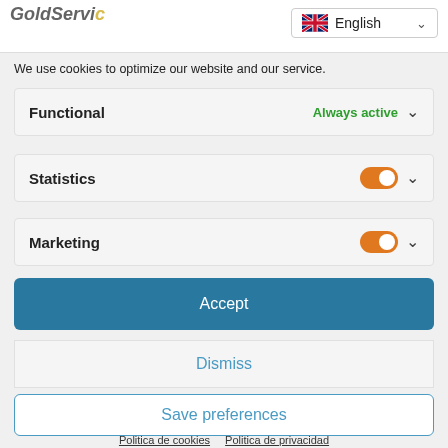[Figure (screenshot): Cookie consent dialog screenshot with language selector, functional/statistics/marketing toggles, Accept/Dismiss/Save preferences buttons, and links to cookie and privacy policies]
We use cookies to optimize our website and our service.
Functional — Always active
Statistics
Marketing
Accept
Dismiss
Save preferences
Politica de cookies   Politica de privacidad